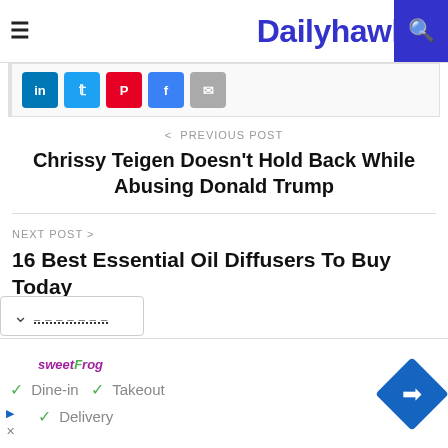Dailyhawker
[Figure (screenshot): Social share buttons: LinkedIn (blue), Twitter (blue), Pinterest (red), Facebook (light blue), Email (grey)]
< PREVIOUS POST
Chrissy Teigen Doesn't Hold Back While Abusing Donald Trump
NEXT POST >
16 Best Essential Oil Diffusers To Buy Today
[Figure (screenshot): Collapsed card widget with chevron down icon and dashed line text]
[Figure (screenshot): Advertisement banner for sweetFrog showing: Dine-in, Takeout, Delivery checkmarks with navigation arrow icon]